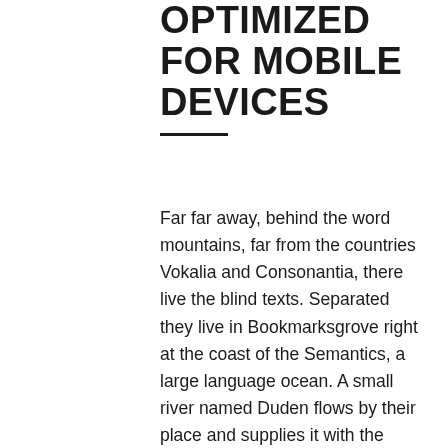OPTIMIZED FOR MOBILE DEVICES
Far far away, behind the word mountains, far from the countries Vokalia and Consonantia, there live the blind texts. Separated they live in Bookmarksgrove right at the coast of the Semantics, a large language ocean. A small river named Duden flows by their place and supplies it with the necessary regelialia. Even the all-powerful Pointing has no control about the blind texts it is an almost unorthographic life One day however a small line of blind text by the name of